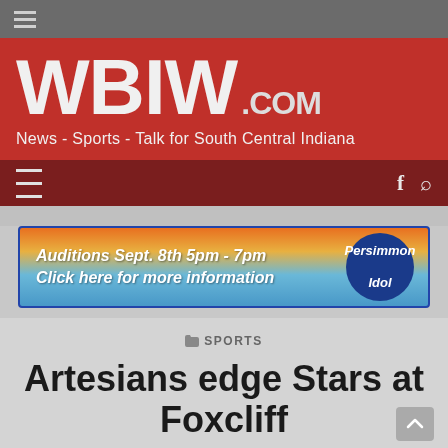≡ (hamburger menu)
[Figure (logo): WBIW.COM logo — large white text on red background with tagline 'News - Sports - Talk for South Central Indiana']
≡   f  🔍
[Figure (infographic): Advertisement banner: 'Auditions Sept. 8th 5pm - 7pm  Click here for more information' with Persimmon Idol logo circle on right side]
SPORTS
Artesians edge Stars at Foxcliff